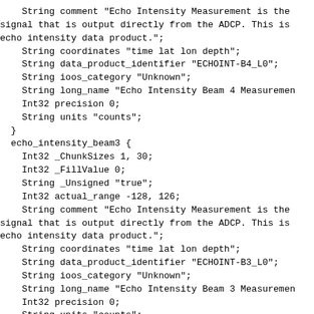String comment "Echo Intensity Measurement is the signal that is output directly from the ADCP. This is echo intensity data product.";
    String coordinates "time lat lon depth";
    String data_product_identifier "ECHOINT-B4_L0";
    String ioos_category "Unknown";
    String long_name "Echo Intensity Beam 4 Measurement";
    Int32 precision 0;
    String units "counts";
  }
  echo_intensity_beam3 {
    Int32 _ChunkSizes 1, 30;
    Int32 _FillValue 0;
    String _Unsigned "true";
    Int32 actual_range -128, 126;
    String comment "Echo Intensity Measurement is the signal that is output directly from the ADCP. This is echo intensity data product.";
    String coordinates "time lat lon depth";
    String data_product_identifier "ECHOINT-B3_L0";
    String ioos_category "Unknown";
    String long_name "Echo Intensity Beam 3 Measurement";
    Int32 precision 0;
    String units "counts";
  }
  echo_intensity_beam1 {